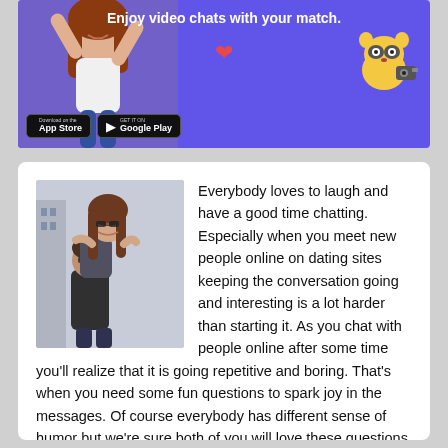[Figure (infographic): Advertisement banner with purple background showing a woman with raised arms on the left, text 'Enjoy video chats with your match.' in white bold text, a red heart icon, a raccoon mascot with camera on the right, and App Store and Google Play download buttons at bottom left.]
[Figure (photo): Photo of a happy couple, woman with sunglasses riding on man's back, both smiling and laughing outdoors in a urban setting.]
Everybody loves to laugh and have a good time chatting. Especially when you meet new people online on dating sites keeping the conversation going and interesting is a lot harder than starting it. As you chat with people online after some time you'll realize that it is going repetitive and boring. That's when you need some fun questions to spark joy in the messages. Of course everybody has different sense of humor but we're sure both of you will love these questions because they are universally accepted. So stop your search for funny questions to ask a girl or guy because you'll find everything you need here. Let's